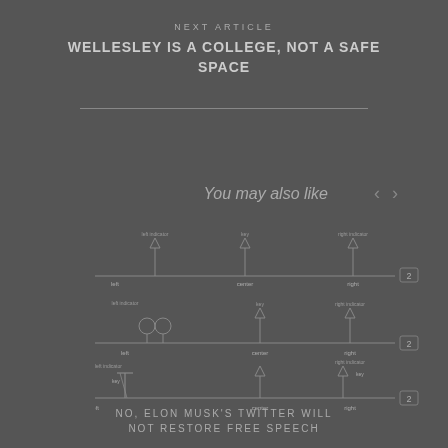NEXT ARTICLE
WELLESLEY IS A COLLEGE, NOT A SAFE SPACE
You may also like
[Figure (engineering-diagram): Three rows of engineering/schematic diagrams showing various component configurations along horizontal lines with labels and connection nodes. Each row has a '2' badge on the right side.]
NO, ELON MUSK'S TWITTER WILL NOT RESTORE FREE SPEECH